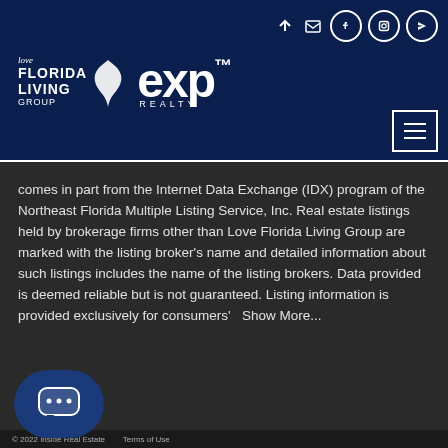[Figure (logo): Love Florida Living Group and eXp Realty logos on dark navy header with social media icons and hamburger menu]
comes in part from the Internet Data Exchange (IDX) program of the Northeast Florida Multiple Listing Service, Inc. Real estate listings held by brokerage firms other than Love Florida Living Group are marked with the listing broker's name and detailed information about such listings includes the name of the listing brokers. Data provided is deemed reliable but is not guaranteed. Listing information is provided exclusively for consumers'  Show More...
© 2022 Inside Real Estate   Terms of Use